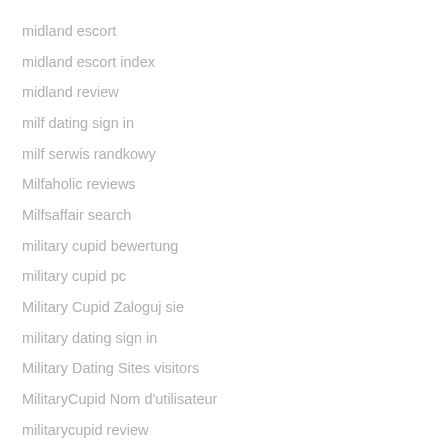midland escort
midland escort index
midland review
milf dating sign in
milf serwis randkowy
Milfaholic reviews
Milfsaffair search
military cupid bewertung
military cupid pc
Military Cupid Zaloguj sie
military dating sign in
Military Dating Sites visitors
MilitaryCupid Nom d'utilisateur
militarycupid review
millionairematch pe